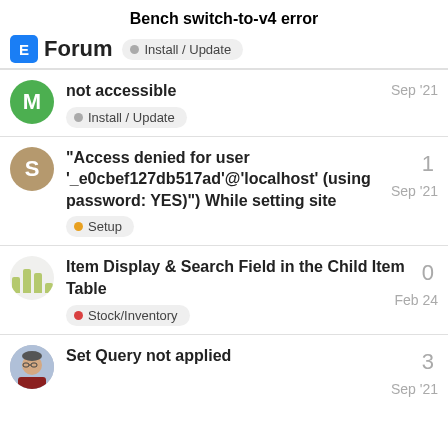Bench switch-to-v4 error
Forum  Install / Update
not accessible  Install / Update  Sep '21
“Access denied for user ‘_e0cbef127db517ad’@‘localhost’ (using password: YES)” While setting site  Setup  Sep '21  1
Item Display & Search Field in the Child Item Table  Stock/Inventory  Feb 24  0
Set Query not applied  Sep '21  3